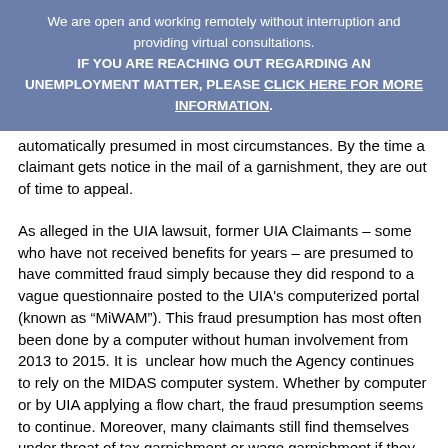We are open and working remotely without interruption and providing virtual consultations. IF YOU ARE REACHING OUT REGARDING AN UNEMPLOYMENT MATTER, PLEASE CLICK HERE FOR MORE INFORMATION.
automatically presumed in most circumstances. By the time a claimant gets notice in the mail of a garnishment, they are out of time to appeal.
As alleged in the UIA lawsuit, former UIA Claimants – some who have not received benefits for years – are presumed to have committed fraud simply because they did respond to a vague questionnaire posted to the UIA's computerized portal (known as “MiWAM”). This fraud presumption has most often been done by a computer without human involvement from 2013 to 2015. It is unclear how much the Agency continues to rely on the MIDAS computer system. Whether by computer or by UIA applying a flow chart, the fraud presumption seems to continue. Moreover, many claimants still find themselves under threat of tax garnishment or wage garnishment if they do not make monthly payment plans.